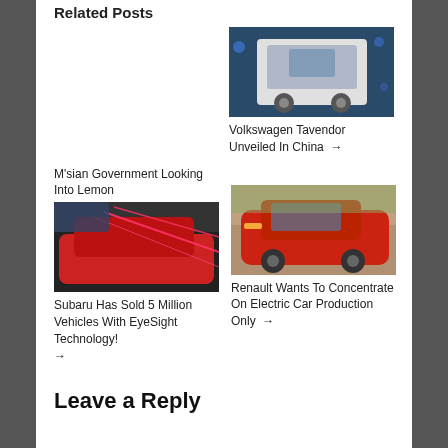Related Posts
[Figure (photo): White Volkswagen Tavendor SUV on a blue-lit stage]
Volkswagen Tavendor Unveiled In China →
M'sian Government Looking Into Lemon
[Figure (photo): Red Subaru car with EyeSight laser beams on road]
[Figure (photo): Red Renault electric car driving on dusty road]
Subaru Has Sold 5 Million Vehicles With EyeSight Technology! →
Renault Wants To Concentrate On Electric Car Production Only →
Leave a Reply